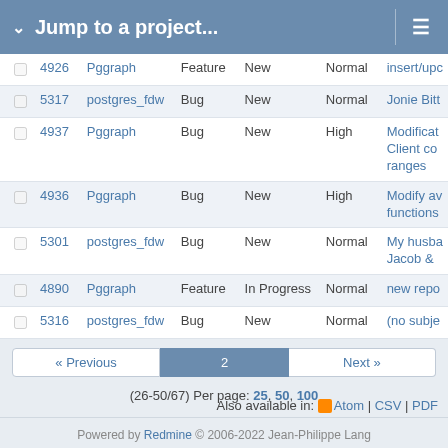Jump to a project...
|  | # | Project | Tracker | Status | Priority | Subject |
| --- | --- | --- | --- | --- | --- | --- |
|  | 4926 | Pggraph | Feature | New | Normal | insert/upc... |
|  | 5317 | postgres_fdw | Bug | New | Normal | Jonie Bitt... |
|  | 4937 | Pggraph | Bug | New | High | Modificat... Client co... ranges |
|  | 4936 | Pggraph | Bug | New | High | Modify av... functions... |
|  | 5301 | postgres_fdw | Bug | New | Normal | My husba... Jacob & ... |
|  | 4890 | Pggraph | Feature | In Progress | Normal | new repo... |
|  | 5316 | postgres_fdw | Bug | New | Normal | (no subje... |
« Previous  2  Next »
(26-50/67) Per page: 25, 50, 100
Also available in: Atom | CSV | PDF
Powered by Redmine © 2006-2022 Jean-Philippe Lang